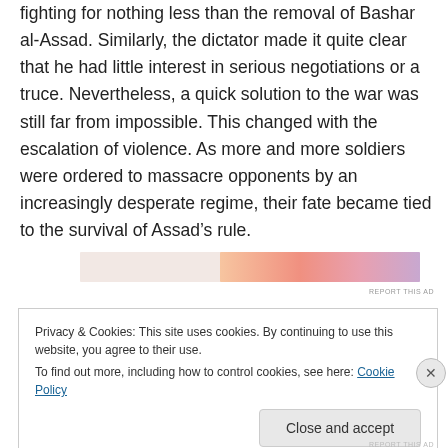fighting for nothing less than the removal of Bashar al-Assad. Similarly, the dictator made it quite clear that he had little interest in serious negotiations or a truce. Nevertheless, a quick solution to the war was still far from impossible. This changed with the escalation of violence. As more and more soldiers were ordered to massacre opponents by an increasingly desperate regime, their fate became tied to the survival of Assad’s rule.
[Figure (other): Advertisement banner with orange-pink gradient color strip]
REPORT THIS AD
Privacy & Cookies: This site uses cookies. By continuing to use this website, you agree to their use.
To find out more, including how to control cookies, see here: Cookie Policy
Close and accept
REPORT THIS AD